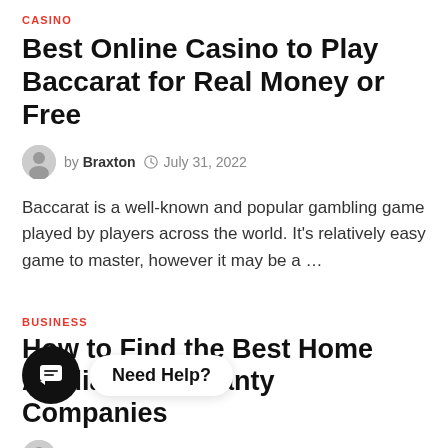CASINO
Best Online Casino to Play Baccarat for Real Money or Free
by Braxton  July 31, 2022
Baccarat is a well-known and popular gambling game played by players across the world. It's relatively easy game to master, however it may be a …
BUSINESS
How to Find the Best Home Appliance Warranty Companies
Need Help?
House devices have become a part and parcel home